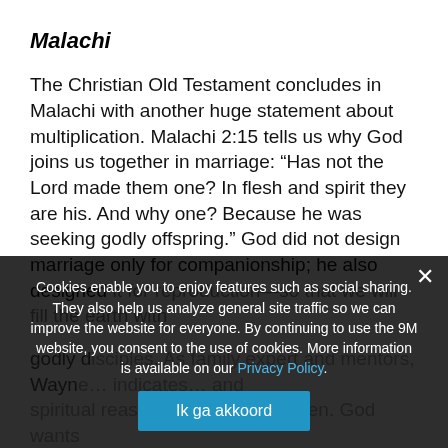Malachi
The Christian Old Testament concludes in Malachi with another huge statement about multiplication. Malachi 2:15 tells us why God joins us together in marriage: “Has not the Lord made them one? In flesh and spirit they are his. And why one? Because he was seeking godly offspring.” God did not design marriage only for companionship; he also designed it for reproduction—so that we will fill the earth with godly disciples. As family expert and mentor, Wayne... indicates... and spiritual reasons for having children. God wants Christian couples to produce and raise godly offspring” (Your Fam... ly, 38).
Cookies enable you to enjoy features such as social sharing. They also help us analyze general site traffic so we can improve the website for everyone. By continuing to use the 9M website, you consent to the use of cookies. More information is available on our Privacy Policy.